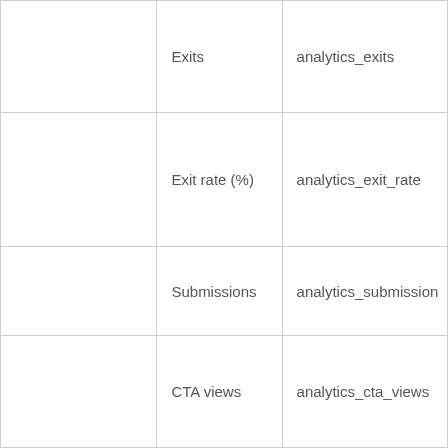|  | Exits | analytics_exits |
|  | Exit rate (%) | analytics_exit_rate |
|  | Submissions | analytics_submission |
|  | CTA views | analytics_cta_views |